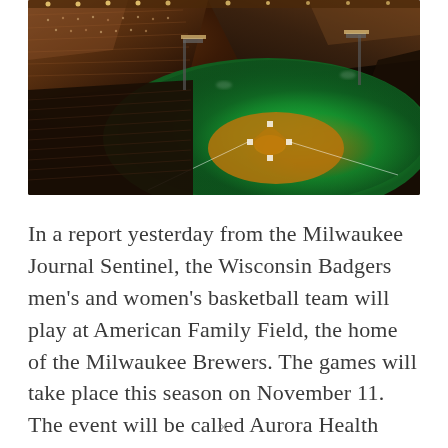[Figure (photo): Aerial night view of American Family Field baseball stadium, home of the Milwaukee Brewers, filled with spectators, showing the illuminated green field and warm stadium lights.]
In a report yesterday from the Milwaukee Journal Sentinel, the Wisconsin Badgers men's and women's basketball team will play at American Family Field, the home of the Milwaukee Brewers. The games will take place this season on November 11. The event will be called Aurora Health Care Brew City Battle. The men's team will play Stanford. The women's team